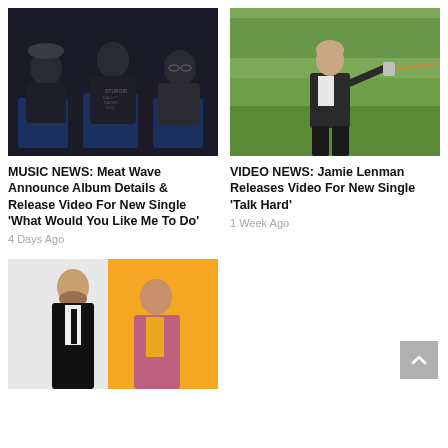[Figure (photo): Three band members (Meat Wave) sitting/standing against a dark background, wearing casual clothing including a Sturgis Rally Races 1995 t-shirt]
[Figure (photo): Man in suit jacket and white shirt standing in a green field, holding a tin can to his ear attached to a string]
MUSIC NEWS: Meat Wave Announce Album Details & Release Video For New Single 'What Would You Like Me To Do'
4 Days Ago
VIDEO NEWS: Jamie Lenman Releases Video For New Single 'Talk Hard'
1 Week Ago
[Figure (photo): Two men posing against a white and orange background, one in a black suit with tie, one in a pink/mauve blazer with yellow shirt]